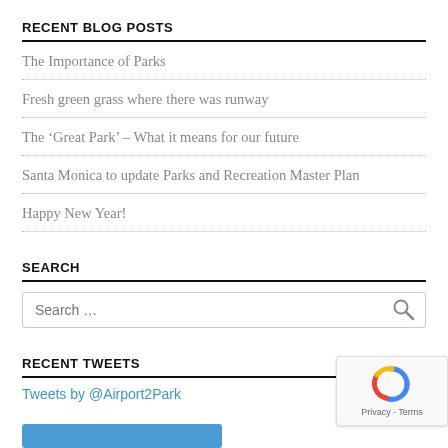RECENT BLOG POSTS
The Importance of Parks
Fresh green grass where there was runway
The ‘Great Park’ – What it means for our future
Santa Monica to update Parks and Recreation Master Plan
Happy New Year!
SEARCH
Search …
RECENT TWEETS
Tweets by @Airport2Park